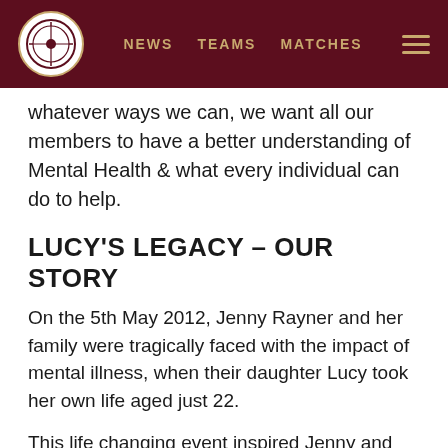NEWS   TEAMS   MATCHES
whatever ways we can, we want all our members to have a better understanding of Mental Health & what every individual can do to help.
LUCY'S LEGACY – OUR STORY
On the 5th May 2012, Jenny Rayner and her family were tragically faced with the impact of mental illness, when their daughter Lucy took her own life aged just 22.
This life changing event inspired Jenny and her family to begin campaigning about the mental health challenges faced by young adults, and they quickly